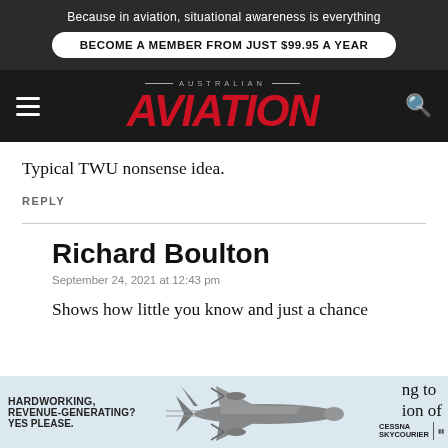Because in aviation, situational awareness is everything
BECOME A MEMBER FROM JUST $99.95 A YEAR
[Figure (logo): Australian Aviation magazine logo with red italic AVIATION text on dark background, with hamburger menu icon on left and search icon on right]
Typical TWU nonsense idea.
REPLY
Richard Boulton
September 24, 2021 at 12:43 pm
Shows how little you know and just a chance
[Figure (screenshot): Advertisement banner: HARDWORKING, REVENUE-GENERATING? YES PLEASE. with image of Cessna SkyCourier aircraft]
ng to
ion of